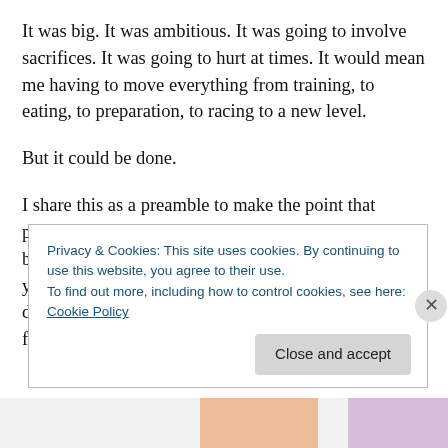It was big. It was ambitious. It was going to involve sacrifices. It was going to hurt at times. It would mean me having to move everything from training, to eating, to preparation, to racing to a new level.
But it could be done.
I share this as a preamble to make the point that planning a running year to be truly ready for 2 or 3 big races is not only sensible but it is darn important if you really want to execute the best you can on race day. From that meeting on we were able to shape the full
Privacy & Cookies: This site uses cookies. By continuing to use this website, you agree to their use.
To find out more, including how to control cookies, see here: Cookie Policy
Close and accept